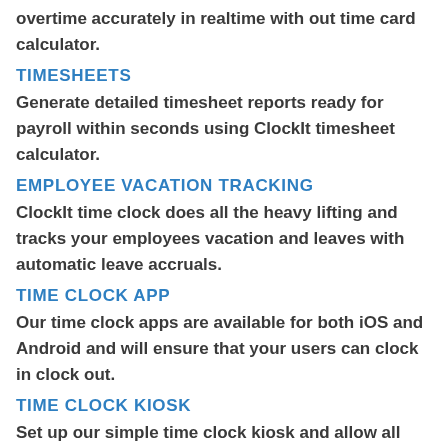overtime accurately in realtime with out time card calculator.
TIMESHEETS
Generate detailed timesheet reports ready for payroll within seconds using ClockIt timesheet calculator.
EMPLOYEE VACATION TRACKING
ClockIt time clock does all the heavy lifting and tracks your employees vacation and leaves with automatic leave accruals.
TIME CLOCK APP
Our time clock apps are available for both iOS and Android and will ensure that your users can clock in clock out.
TIME CLOCK KIOSK
Set up our simple time clock kiosk and allow all your users to clock in clock out.